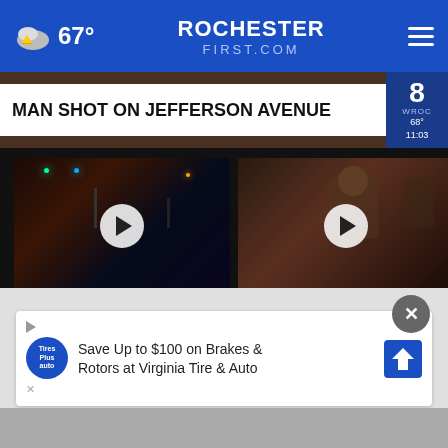67° RochesterFirst.com
MAN SHOT ON JEFFERSON AVENUE
[Figure (screenshot): Night scene video thumbnail with traffic lights, play button overlay. Title: Rochester man hospitalized after... 3 hours ago]
[Figure (screenshot): Person waving video thumbnail with play button overlay. Title: Adam Interviews: 'Forged in Fire' judge... 3 hours ago]
[Figure (screenshot): Partial third video card, partially visible]
Rochester man hospitalized after...
3 hours ago
Adam Interviews: 'Forged in Fire' judge...
3 hours ago
Artis Roche
More Videos ▸
Save Up to $100 on Brakes & Rotors at Virginia Tire & Auto